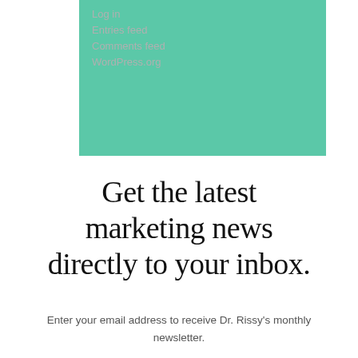Log in
Entries feed
Comments feed
WordPress.org
Get the latest marketing news directly to your inbox.
Enter your email address to receive Dr. Rissy's monthly newsletter.